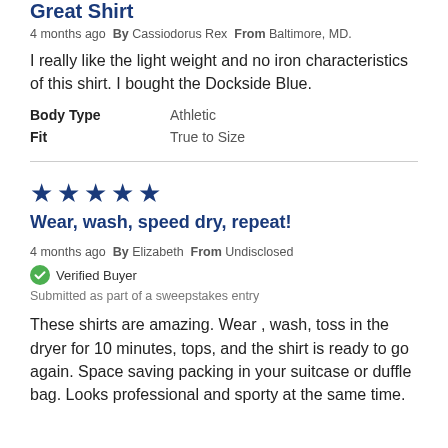Great Shirt
4 months ago  By Cassiodorus Rex  From Baltimore, MD.
I really like the light weight and no iron characteristics of this shirt. I bought the Dockside Blue.
| Attribute | Value |
| --- | --- |
| Body Type | Athletic |
| Fit | True to Size |
[Figure (other): 5 navy blue filled star rating icons]
Wear, wash, speed dry, repeat!
4 months ago  By Elizabeth  From Undisclosed
Verified Buyer
Submitted as part of a sweepstakes entry
These shirts are amazing. Wear , wash, toss in the dryer for 10 minutes, tops, and the shirt is ready to go again. Space saving packing in your suitcase or duffle bag. Looks professional and sporty at the same time.